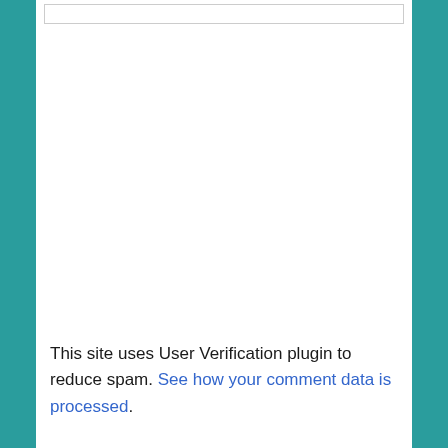This site uses User Verification plugin to reduce spam. See how your comment data is processed.